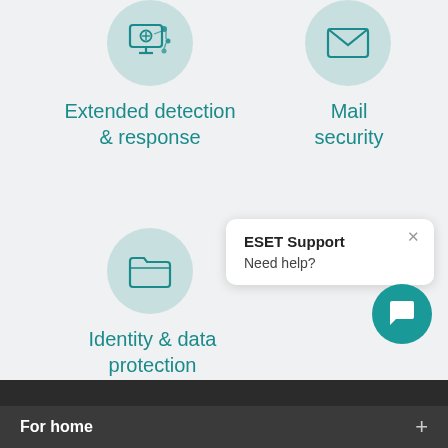[Figure (illustration): Teal icon of a monitor with crosshair and connected nodes inside a light teal circle, representing Extended detection & response]
Extended detection & response
[Figure (illustration): Teal envelope icon inside a light teal circle, representing Mail security]
Mail security
[Figure (illustration): Teal open folder icon inside a light teal circle, representing Identity & data protection]
Identity & data protection
ESET Support
Need help?
For home